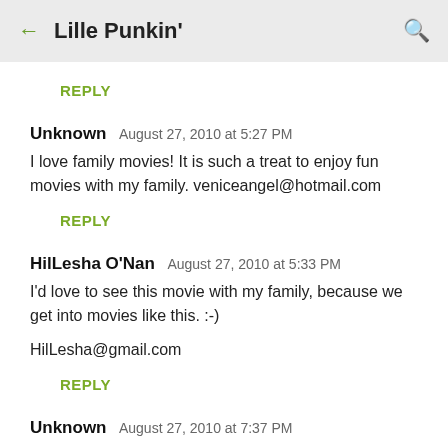← Lille Punkin' 🔍
REPLY
Unknown  August 27, 2010 at 5:27 PM
I love family movies! It is such a treat to enjoy fun movies with my family. veniceangel@hotmail.com
REPLY
HilLesha O'Nan  August 27, 2010 at 5:33 PM
I'd love to see this movie with my family, because we get into movies like this. :-)

HilLesha@gmail.com
REPLY
Unknown  August 27, 2010 at 7:37 PM